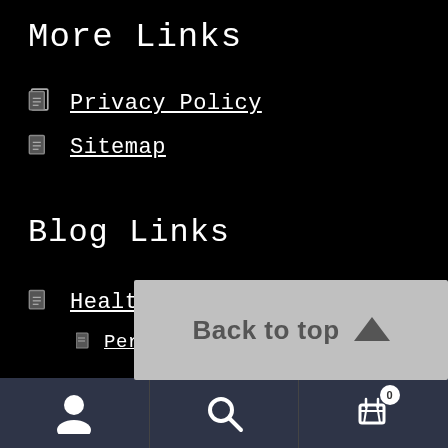More Links
Privacy Policy
Sitemap
Blog Links
Healthy and Beauty Blog
Personal Hygiene Blog
Back to top
user icon | search icon | cart icon with badge 0